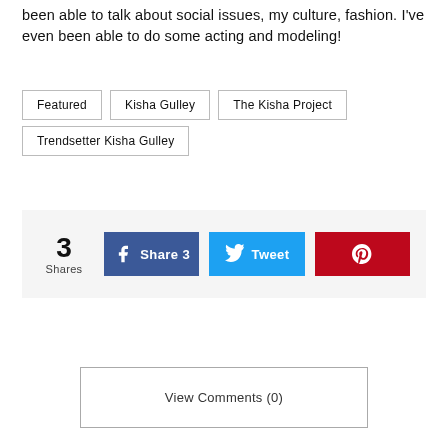been able to talk about social issues, my culture, fashion. I've even been able to do some acting and modeling!
Featured
Kisha Gulley
The Kisha Project
Trendsetter Kisha Gulley
3 Shares | Share 3 | Tweet | Pinterest
View Comments (0)